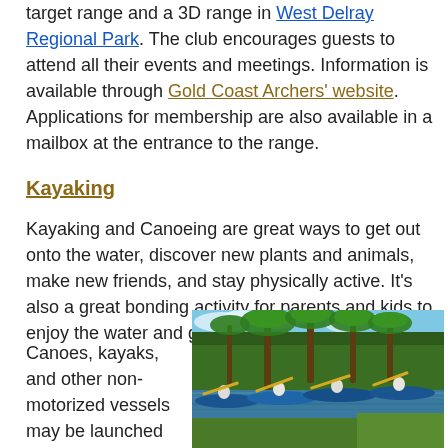target range and a 3D range in West Delray Regional Park. The club encourages guests to attend all their events and meetings. Information is available through Gold Coast Archers' website. Applications for membership are also available in a mailbox at the entrance to the range.
Kayaking
Kayaking and Canoeing are great ways to get out onto the water, discover new plants and animals, make new friends, and stay physically active. It's also a great bonding activity for parents and kids to enjoy the water and get a great workout.
Canoes, kayaks, and other non-motorized vessels may be launched along any shoreline
[Figure (photo): Four people kayaking in blue kayaks on a calm waterway surrounded by palm trees and lush green vegetation under a partly cloudy sky.]